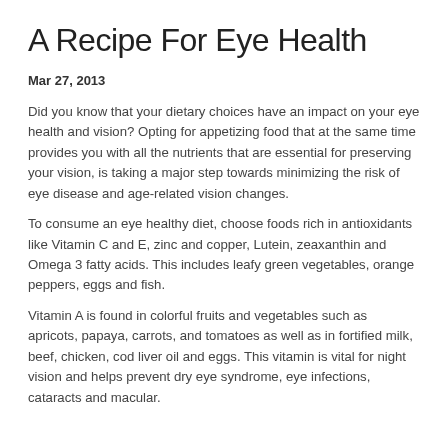A Recipe For Eye Health
Mar 27, 2013
Did you know that your dietary choices have an impact on your eye health and vision? Opting for appetizing food that at the same time provides you with all the nutrients that are essential for preserving your vision, is taking a major step towards minimizing the risk of eye disease and age-related vision changes.
To consume an eye healthy diet, choose foods rich in antioxidants like Vitamin C and E, zinc and copper, Lutein, zeaxanthin and Omega 3 fatty acids. This includes leafy green vegetables, orange peppers, eggs and fish.
Vitamin A is found in colorful fruits and vegetables such as apricots, papaya, carrots, and tomatoes as well as in fortified milk, beef, chicken, cod liver oil and eggs. This vitamin is vital for night vision and helps prevent dry eye syndrome, eye infections, cataracts and macular.